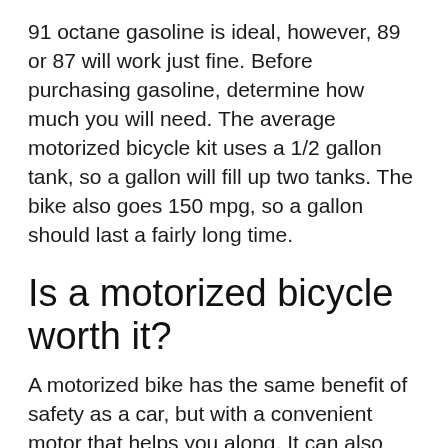91 octane gasoline is ideal, however, 89 or 87 will work just fine. Before purchasing gasoline, determine how much you will need. The average motorized bicycle kit uses a 1/2 gallon tank, so a gallon will fill up two tanks. The bike also goes 150 mpg, so a gallon should last a fairly long time.
Is a motorized bicycle worth it?
A motorized bike has the same benefit of safety as a car, but with a convenient motor that helps you along. It can also help with safety; most accidents between cyclists and motorists occur at intersections. Being able to get up to speed faster may help reduce